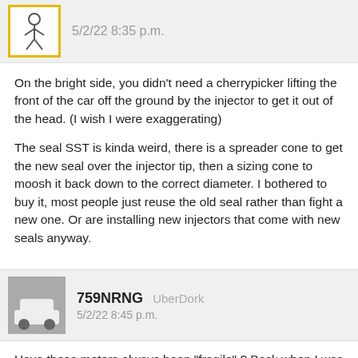5/2/22 8:35 p.m.
On the bright side, you didn't need a cherrypicker lifting the front of the car off the ground by the injector to get it out of the head.  (I wish I were exaggerating)
The seal SST is kinda weird, there is a spreader cone to get the new seal over the injector tip, then a sizing cone to moosh it back down to the correct diameter.  I bothered to buy it, most people just reuse the old seal rather than fight a new one.  Or are installing new injectors that come with new seals anyway.
759NRNG UberDork 5/2/22 8:45 p.m.
Have these motors always been "fragile" ? Back when I was following Colin McRae and Petter Solberg in WRC it never seemed as thou these bulletts where an issue,  or maybe